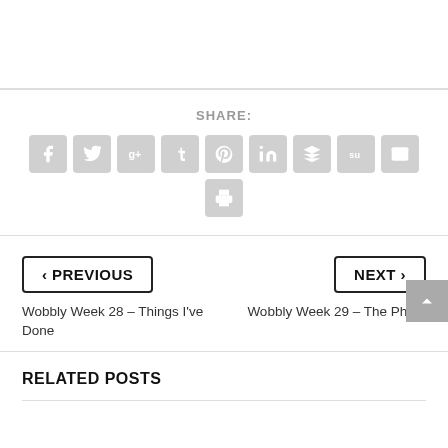SHARE:
[Figure (infographic): Social sharing icons: Facebook, Twitter, Google+, Tumblr, Pinterest, LinkedIn, Buffer, StumbleUpon, Email, Print]
‹ PREVIOUS
Wobbly Week 28 – Things I've Done
NEXT ›
Wobbly Week 29 – The Photo
RELATED POSTS